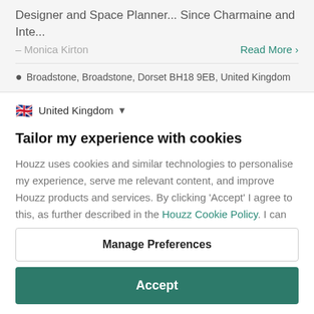Designer and Space Planner... Since Charmaine and Inte...
– Monica Kirton
Read More >
Broadstone, Broadstone, Dorset BH18 9EB, United Kingdom
United Kingdom
Tailor my experience with cookies
Houzz uses cookies and similar technologies to personalise my experience, serve me relevant content, and improve Houzz products and services. By clicking 'Accept' I agree to this, as further described in the Houzz Cookie Policy. I can reject non-
Manage Preferences
Accept